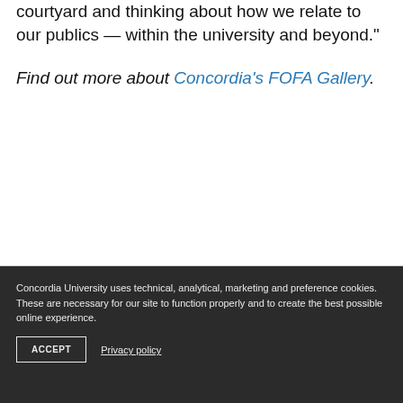courtyard and thinking about how we relate to our publics — within the university and beyond."
Find out more about Concordia's FOFA Gallery.
Concordia University uses technical, analytical, marketing and preference cookies. These are necessary for our site to function properly and to create the best possible online experience.
ACCEPT
Privacy policy